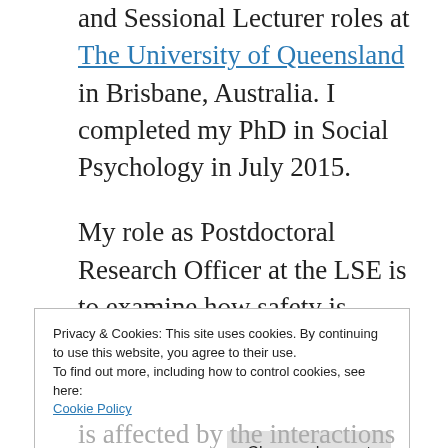and Sessional Lecturer roles at The University of Queensland in Brisbane, Australia. I completed my PhD in Social Psychology in July 2015.
My role as Postdoctoral Research Officer at the LSE is to examine how safety is perceived within organisations. One line of research looks at how safety culture differs as a function of national cultural norms and values, for example, norms with respect to superior-
Privacy & Cookies: This site uses cookies. By continuing to use this website, you agree to their use.
To find out more, including how to control cookies, see here:
Cookie Policy
Close and accept
is affected by the interactions of their...